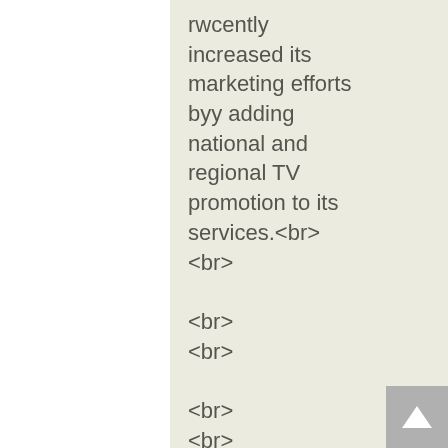rwcently increased its marketing efforts byy adding national and regional TV promotion to its services.<br> <br> <br> <br> <br> <br> <br> <br> <br> <br> "Lifestyle TV hosts